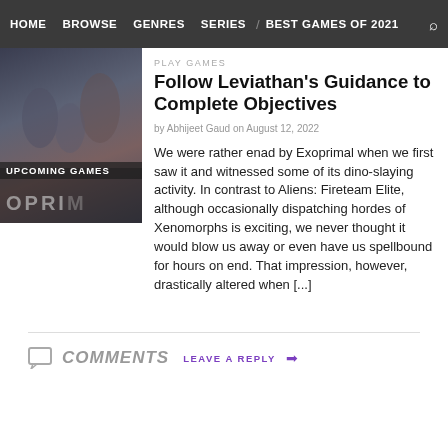HOME  BROWSE  GENRES  SERIES  BEST GAMES OF 2021
[Figure (photo): Thumbnail image for Exoprimal article showing game characters, with label UPCOMING GAMES and game title OPRIM partially visible]
Follow Leviathan's Guidance to Complete Objectives
PLAY GAMES
by Abhijeet Gaud on August 12, 2022
We were rather enad by Exoprimal when we first saw it and witnessed some of its dino-slaying activity. In contrast to Aliens: Fireteam Elite, although occasionally dispatching hordes of Xenomorphs is exciting, we never thought it would blow us away or even have us spellbound for hours on end. That impression, however, drastically altered when [...]
COMMENTS  LEAVE A REPLY →